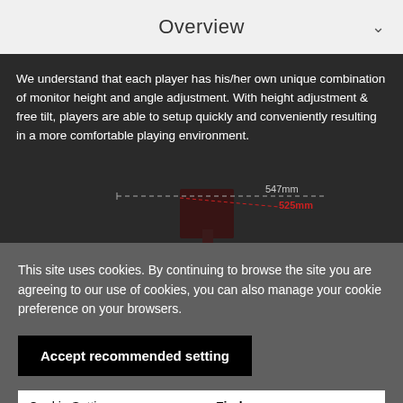Overview
We understand that each player has his/her own unique combination of monitor height and angle adjustment. With height adjustment & free tilt, players are able to setup quickly and conveniently resulting in a more comfortable playing environment.
[Figure (engineering-diagram): Diagram of a monitor showing height adjustment dimensions: 547mm horizontal width and 525mm red diagonal/vertical measurement.]
This site uses cookies. By continuing to browse the site you are agreeing to our use of cookies, you can also manage your cookie preference on your browsers.
Accept recommended setting
Cookie Settings    Find more